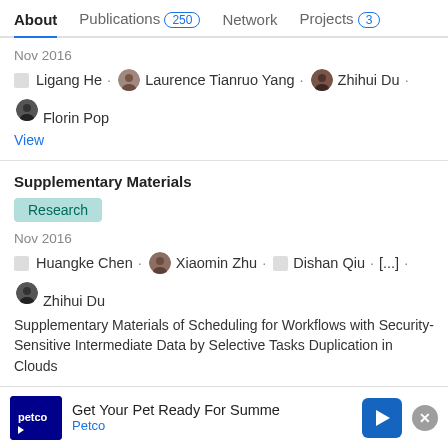About  Publications 250  Network  Projects 3
Nov 2016
Ligang He · Laurence Tianruo Yang · Zhihui Du · Florin Pop
View
Supplementary Materials
Research
Nov 2016
Huangke Chen · Xiaomin Zhu · Dishan Qiu · [...] · Zhihui Du
Supplementary Materials of Scheduling for Workflows with Security-Sensitive Intermediate Data by Selective Tasks Duplication in Clouds
View
Advertisement
[Figure (other): Petco advertisement banner: Get Your Pet Ready For Summer. Petco logo and arrow icon.]